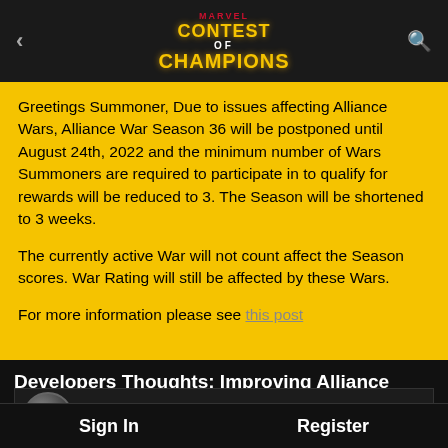< Marvel Contest of Champions >
Greetings Summoner, Due to issues affecting Alliance Wars, Alliance War Season 36 will be postponed until August 24th, 2022 and the minimum number of Wars Summoners are required to participate in to qualify for rewards will be reduced to 3. The Season will be shortened to 3 weeks.
The currently active War will not count affect the Season scores. War Rating will still be affected by these Wars.
For more information please see [link]
Developers Thoughts: Improving Alliance Wars Discussion Thread
Fhfjghhggggjfhfjg
Sign In    Register